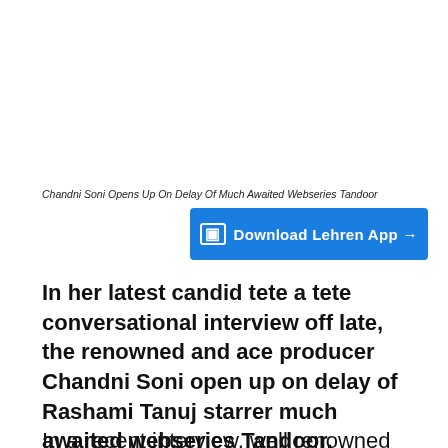Chandni Soni Opens Up On Delay Of Much Awaited Webseries Tandoor
[Figure (other): Download Lehren App button — blue rectangular button with phone icon and text 'Download Lehren App →']
In her latest candid tete a tete conversational interview off late, the renowned and ace producer Chandni Soni open up on delay of Rashami Tanuj starrer much awaited webseries Tandoor.
In a recent interview, well renowned and ace